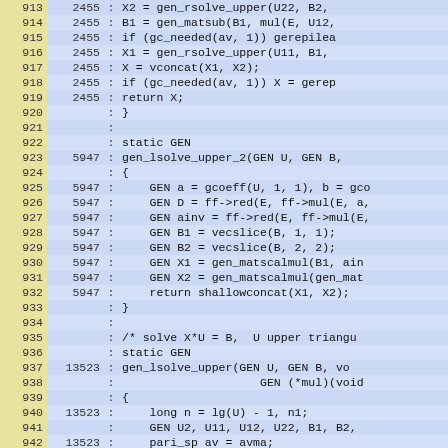[Figure (screenshot): Source code diff/annotated listing showing lines 913-942 with line numbers in yellow-green left column, hit counts in blue center column, colon separator, and code in blue-highlighted right column. Monospace font, two-tone blue background for code rows.]